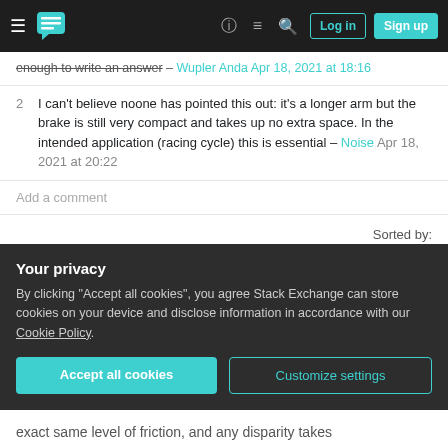Stack Exchange navigation bar with hamburger menu, logo, help, chat, search icons, Log in and Sign up buttons
enough to write an answer – Wupler Anda Apr 18, 2021 at 18:16
2  I can't believe noone has pointed this out: it's a longer arm but the brake is still very compact and takes up no extra space. In the intended application (racing cycle) this is essential – Noise Apr 18, 2021 at 20:22
Add a comment
4 Answers
Sorted by: Highest score (default)
Your privacy
By clicking "Accept all cookies", you agree Stack Exchange can store cookies on your device and disclose information in accordance with our Cookie Policy.
Accept all cookies
Customize settings
exact same level of friction, and any disparity takes